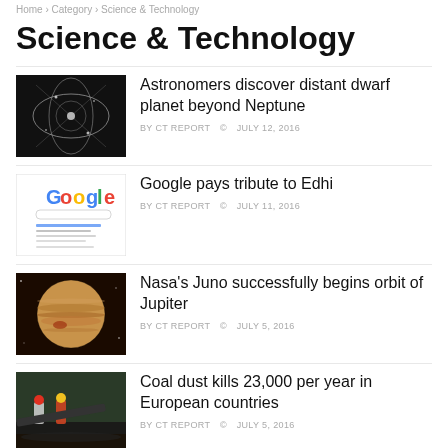Home › Category › Science & Technology
Science & Technology
[Figure (photo): Dark background with glowing orbital diagram or particle physics illustration]
Astronomers discover distant dwarf planet beyond Neptune
BY CT REPORT  © JULY 12, 2016
[Figure (screenshot): Google search homepage screenshot]
Google pays tribute to Edhi
BY CT REPORT  © JULY 11, 2016
[Figure (photo): Planet Jupiter photographed from orbit]
Nasa's Juno successfully begins orbit of Jupiter
BY CT REPORT  © JULY 5, 2016
[Figure (photo): Coal workers carrying heavy loads]
Coal dust kills 23,000 per year in European countries
BY CT REPORT  © JULY 5, 2016
[Figure (photo): Colorful medical or brain illustration]
Novel technology delivers drugs to brain